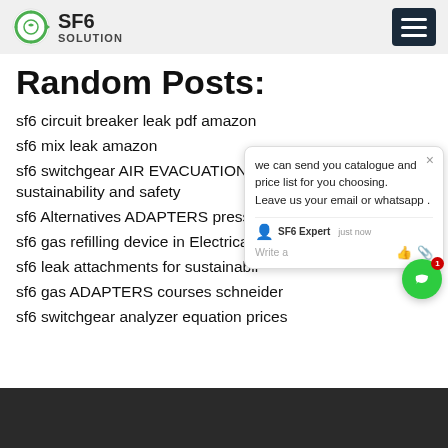SF6 SOLUTION
Random Posts:
sf6 circuit breaker leak pdf amazon
sf6 mix leak amazon
sf6 switchgear AIR EVACUATION cours sustainability and safety
sf6 Alternatives ADAPTERS pressure ru
sf6 gas refilling device in Electrical Appli
sf6 leak attachments for sustainabil
sf6 gas ADAPTERS courses schneider
sf6 switchgear analyzer equation prices
[Figure (screenshot): Chat popup overlay showing message: 'we can send you catalogue and price list for you choosing. Leave us your email or whatsapp.' with SF6 Expert agent and just now timestamp, write input area with thumbs up and paperclip icons. Green chat bubble button with red badge showing 1.]